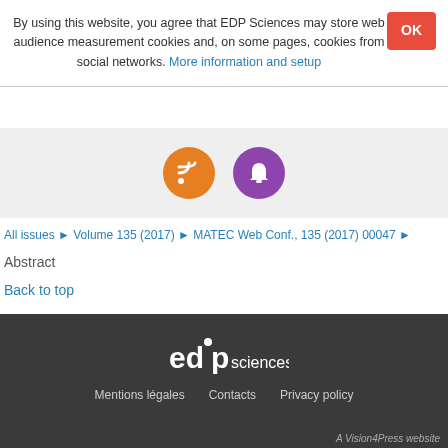By using this website, you agree that EDP Sciences may store web audience measurement cookies and, on some pages, cookies from social networks. More information and setup
[Figure (infographic): Orange RSS feed icon circle and purple notification bell icon circle on grey background]
All issues ▶ Volume 135 (2017) ▶ MATEC Web Conf., 135 (2017) 00047 ▶
Abstract
Back to top
[Figure (logo): EDP Sciences logo in white on dark grey background]
Mentions légales   Contacts   Privacy policy
A Vision4Press website